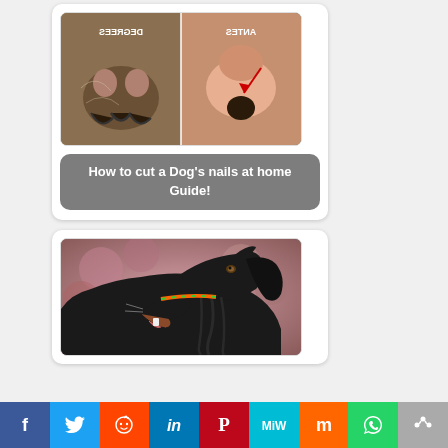[Figure (photo): Side-by-side photo of a dog's paw/nails showing 'DEGREES' on left and 'ANTES' on right with a red arrow, text appears mirrored/upside-down]
How to cut a Dog’s nails at home Guide!
[Figure (photo): Profile photo of a black long-haired dog (likely a flat-coated retriever) with mouth open, against a blurred pink/brown background]
f  Twitter  reddit  in  Pinterest  MiW  Mix  WhatsApp  Share